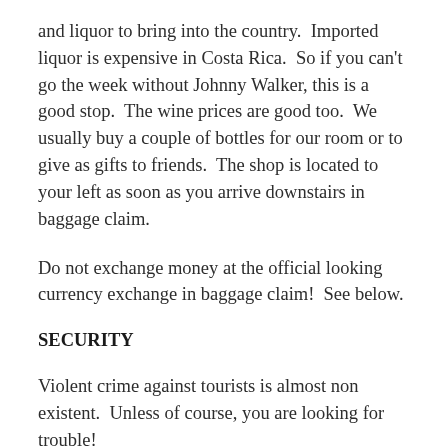and liquor to bring into the country.  Imported liquor is expensive in Costa Rica.  So if you can't go the week without Johnny Walker, this is a good stop.  The wine prices are good too.  We usually buy a couple of bottles for our room or to give as gifts to friends.  The shop is located to your left as soon as you arrive downstairs in baggage claim.
Do not exchange money at the official looking currency exchange in baggage claim!  See below.
SECURITY
Violent crime against tourists is almost non existent.  Unless of course, you are looking for trouble!
But petty theft is a real problem.  So it is important that you keep an eye on your stuff.  Do no leave